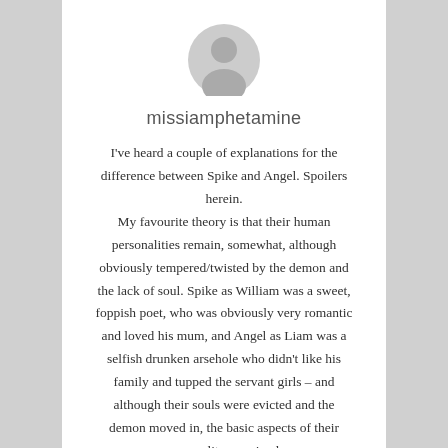[Figure (illustration): Generic user avatar icon — a grey silhouette of a person's head and shoulders on a white background]
missiamphetamine
I've heard a couple of explanations for the difference between Spike and Angel. Spoilers herein.
My favourite theory is that their human personalities remain, somewhat, although obviously tempered/twisted by the demon and the lack of soul. Spike as William was a sweet, foppish poet, who was obviously very romantic and loved his mum, and Angel as Liam was a selfish drunken arsehole who didn't like his family and tupped the servant girls – and although their souls were evicted and the demon moved in, the basic aspects of their personality remained.
Hence Spike still has a perversely romantic, caring side (which twists into obsessive, selfish love thanks to the demon), whereas Angel was an arsehole as Liam anyway, so the demon had